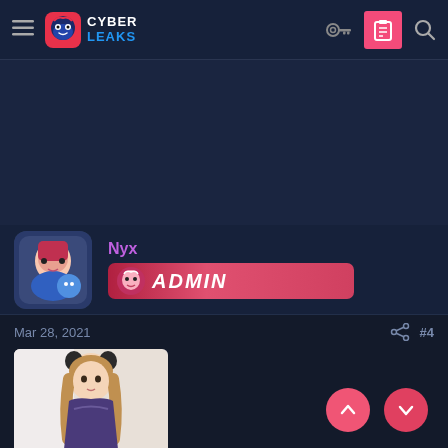CyberLeaks navigation bar with logo, key icon, clipboard button, search icon
[Figure (screenshot): CyberLeaks website screenshot showing navbar, banner area, user profile for Nyx with Admin badge, post dated Mar 28, 2021 with #4, and a photo thumbnail of a girl]
Nyx
ADMIN
Mar 28, 2021
#4